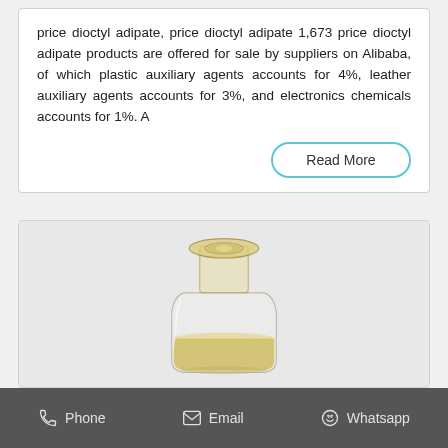price dioctyl adipate, price dioctyl adipate 1,673 price dioctyl adipate products are offered for sale by suppliers on Alibaba, of which plastic auxiliary agents accounts for 4%, leather auxiliary agents accounts for 3%, and electronics chemicals accounts for 1%. A
Read More
[Figure (photo): A glass reagent bottle with a glass stopper, partially filled with a yellowish liquid (dioctyl adipate), photographed against a light grey background.]
Phone   Email   Whatsapp